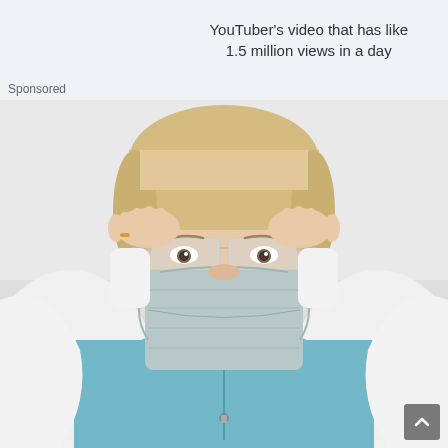YouTuber's video that has like 1.5 million views in a day
Sponsored
[Figure (photo): A healthcare worker wearing blue scrubs, a surgical face mask, and clear safety glasses. The person is adjusting the glasses with both hands raised to their temples. The background is light/white.]